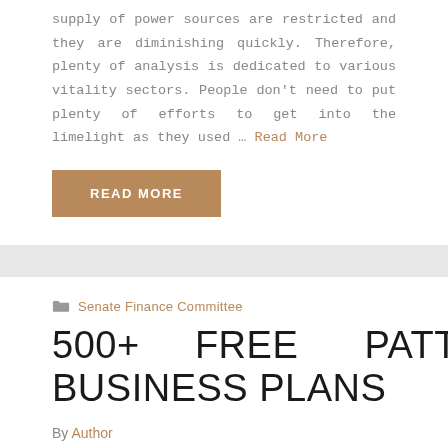supply of power sources are restricted and they are diminishing quickly. Therefore, plenty of analysis is dedicated to various vitality sectors. People don't need to put plenty of efforts to get into the limelight as they used … Read More
READ MORE
Senate Finance Committee
500+ FREE PATTERN BUSINESS PLANS
By Author